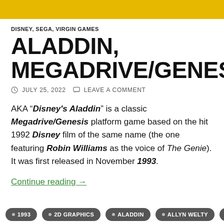DISNEY, SEGA, VIRGIN GAMES
ALADDIN, MEGADRIVE/GENESIS
JULY 25, 2022    LEAVE A COMMENT
AKA “Disney's Aladdin” is a classic Megadrive/Genesis platform game based on the hit 1992 Disney film of the same name (the one featuring Robin Williams as the voice of The Genie). It was first released in November 1993.
Continue reading →
1993
2D GRAPHICS
ALADDIN
ALLYN WELTY
AMERICAN